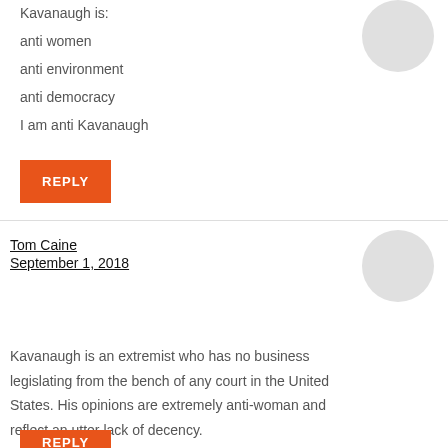Kavanaugh is:
anti women
anti environment
anti democracy
I am anti Kavanaugh
REPLY
Tom Caine
September 1, 2018
Kavanaugh is an extremist who has no business legislating from the bench of any court in the United States. His opinions are extremely anti-woman and reflect an utter lack of decency.
REPLY